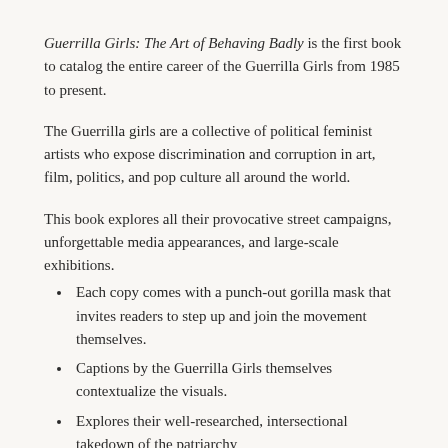Guerrilla Girls: The Art of Behaving Badly is the first book to catalog the entire career of the Guerrilla Girls from 1985 to present.
The Guerrilla girls are a collective of political feminist artists who expose discrimination and corruption in art, film, politics, and pop culture all around the world.
This book explores all their provocative street campaigns, unforgettable media appearances, and large-scale exhibitions.
Each copy comes with a punch-out gorilla mask that invites readers to step up and join the movement themselves.
Captions by the Guerrilla Girls themselves contextualize the visuals.
Explores their well-researched, intersectional takedown of the patriarchy